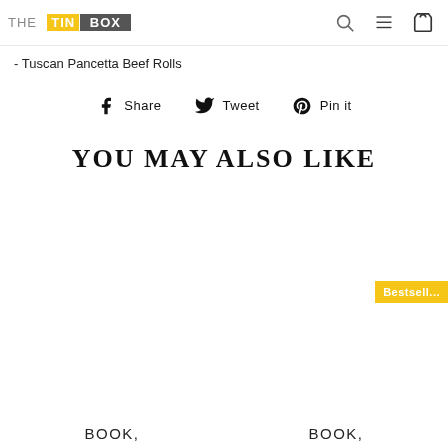THE TIN BOX [logo with navigation icons: search, menu, cart]
- Tuscan Pancetta Beef Rolls
Share  Tweet  Pin it
YOU MAY ALSO LIKE
Bestseller
BOOK,  BOOK,